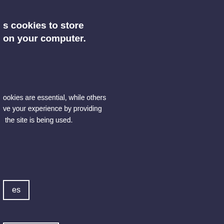[Figure (screenshot): A government county council website screenshot partially obscured by a cookie consent overlay dialog. The overlay is dark navy/purple with white text and buttons. The underlying page shows a county council header, navigation, search bar, breadcrumb, a heading about 'offering help', and colorful circular icons.]
s cookies to store on your computer.
ookies are essential, while others ve your experience by providing the site is being used.
es
ot Cookies
ies
ble core functionality such cess to secure areas.
nty Council
/ Register
g and Act Local /
offering help